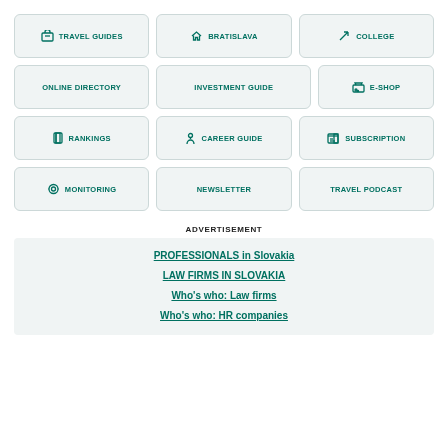[Figure (infographic): Navigation button grid with icons: Travel Guides, Bratislava, College, Online Directory, Investment Guide, E-Shop, Rankings, Career Guide, Subscription, Monitoring, Newsletter, Travel Podcast]
ADVERTISEMENT
PROFESSIONALS in Slovakia
LAW FIRMS IN SLOVAKIA
Who's who: Law firms
Who's who: HR companies